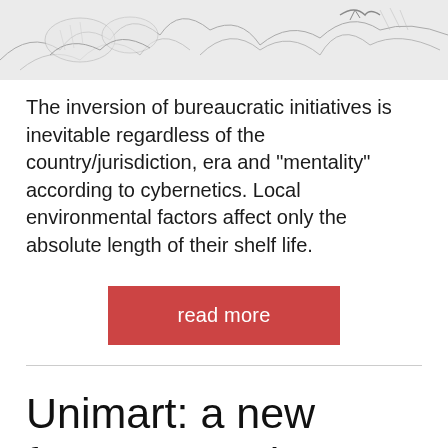[Figure (illustration): Partial sketch illustration showing hand-drawn figures, appears to be cropped at the top of the page]
The inversion of bureaucratic initiatives is inevitable regardless of the country/jurisdiction, era and "mentality" according to cybernetics. Local environmental factors affect only the absolute length of their shelf life.
read more
Unimart: a new format to replace retail